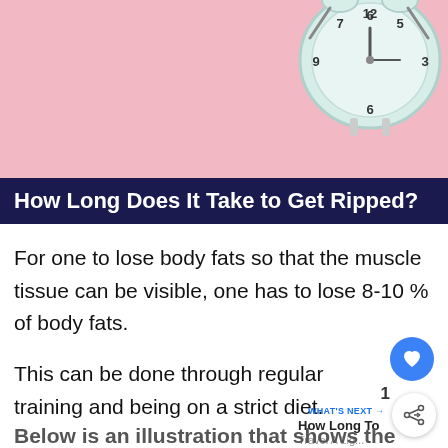[Figure (photo): Pink background with a white alarm clock in the upper right corner showing numbers 5, 6, 7 and alarm spikes visible]
How Long Does It Take to Get Ripped?
For one to lose body fats so that the muscle tissue can be visible, one has to lose 8-10 % of body fats.
This can be done through regular training and being on a strict diet.
Below is an illustration that shows the